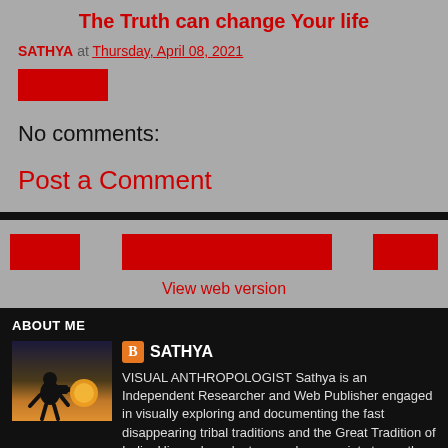The Truth can change Your life
SATHYA at Thursday, April 08, 2021
[Figure (other): Red button/label element]
No comments:
Post a Comment
[Figure (other): Navigation bar with three red buttons]
View web version
ABOUT ME
[Figure (photo): Silhouette of a person with camera against sunset sky]
SATHYA
VISUAL ANTHROPOLOGIST Sathya is an Independent Researcher and Web Publisher engaged in visually exploring and documenting the fast disappearing tribal traditions and the Great Tradition of India. His work seeks to reveal one society to another creating an environment for trans-cultural